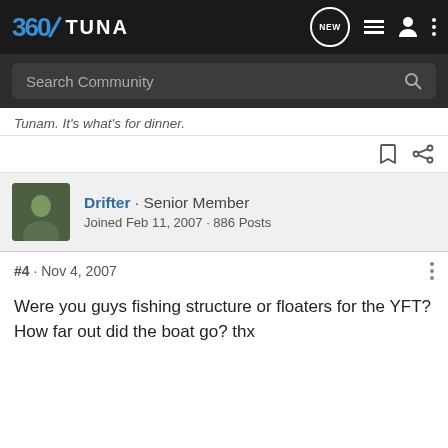360Tuna — Search Community navigation bar
Tunam. It's what's for dinner.
Drifter · Senior Member
Joined Feb 11, 2007 · 886 Posts
#4 · Nov 4, 2007
Were you guys fishing structure or floaters for the YFT? How far out did the boat go? thx